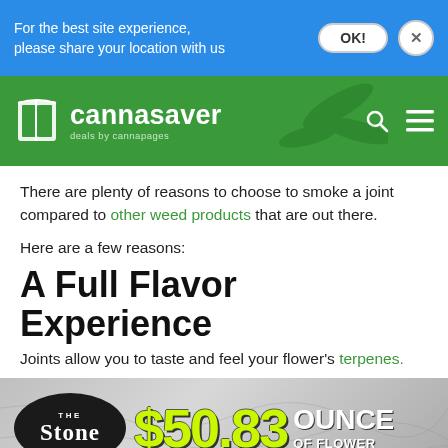For the best site experience, please share your location with us
[Figure (logo): Cannasaver logo with book icon and tagline 'deals by cannapages' on green header background with search and menu icons]
There are plenty of reasons to choose to smoke a joint compared to other weed products that are out there.
Here are a few reasons:
A Full Flavor Experience
Joints allow you to taste and feel your flower's terpenes.
[Figure (photo): The Stone dispensary ad banner showing '$50.83 OUNCE OF FLOWER' deal with yellow-green price text on grey/marble background]